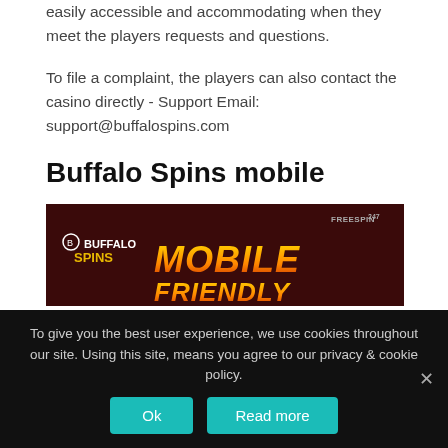easily accessible and accommodating when they meet the players requests and questions.
To file a complaint, the players can also contact the casino directly - Support Email: support@buffalospins.com
Buffalo Spins mobile
[Figure (illustration): Buffalo Spins Mobile Friendly banner with dark red background, Buffalo Spins logo on the left, 'MOBILE FRIENDLY' in large gradient text in center, and FreeSpin247 logo top right.]
It starts to become all the more common with casino games in mobiles and it is extremely important for casino sites to keep up with that trend
To give you the best user experience, we use cookies throughout our site. Using this site, means you agree to our privacy & cookie policy.